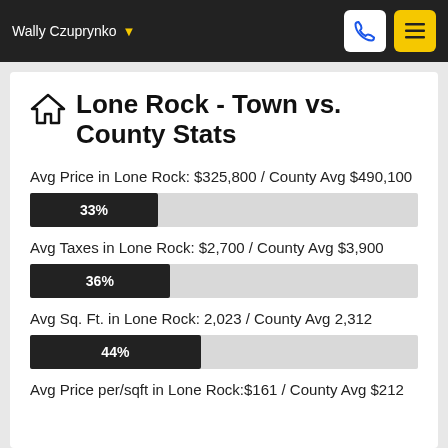Wally Czuprynko
Lone Rock - Town vs. County Stats
Avg Price in Lone Rock: $325,800 / County Avg $490,100
[Figure (bar-chart): Avg Price comparison]
Avg Taxes in Lone Rock: $2,700 / County Avg $3,900
[Figure (bar-chart): Avg Taxes comparison]
Avg Sq. Ft. in Lone Rock: 2,023 / County Avg 2,312
[Figure (bar-chart): Avg Sq. Ft. comparison]
Avg Price per/sqft in Lone Rock:$161 / County Avg $212